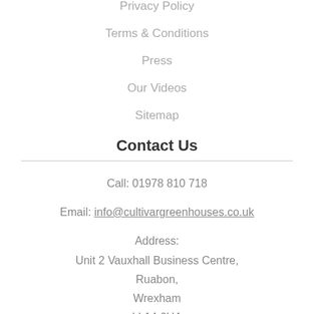Privacy Policy
Terms & Conditions
Press
Our Videos
Sitemap
Contact Us
Call: 01978 810 718
Email: info@cultivargreenhouses.co.uk
Address:
Unit 2 Vauxhall Business Centre,
Ruabon,
Wrexham
LL14 6HA